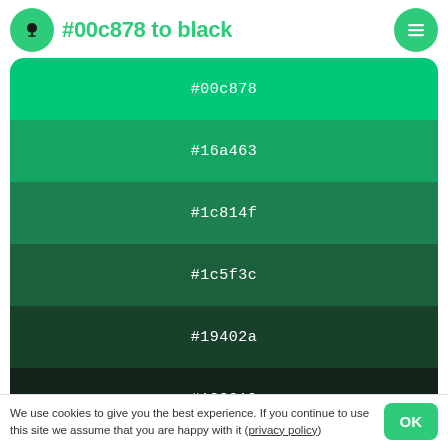#00c878 to black
[Figure (infographic): Color palette showing gradient from #00c878 (bright green) to #000000 (black) in 7 steps: #00c878, #16a463, #1c814f, #1c5f3c, #19402a, #122319, #000000 / #000]
Paints
We use cookies to give you the best experience. If you continue to use this site we assume that you are happy with it (privacy policy)